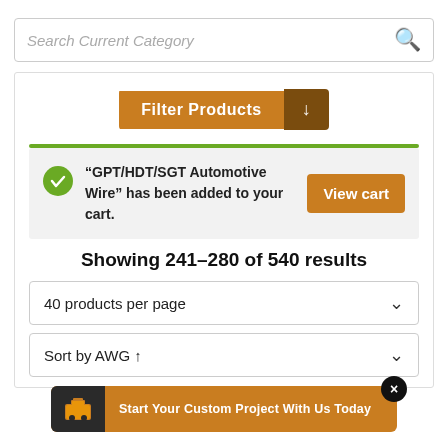Search Current Category
[Figure (screenshot): Filter Products button with dropdown arrow]
“GPT/HDT/SGT Automotive Wire” has been added to your cart.
View cart
Showing 241–280 of 540 results
40 products per page
Sort by AWG ↑
Start Your Custom Project With Us Today